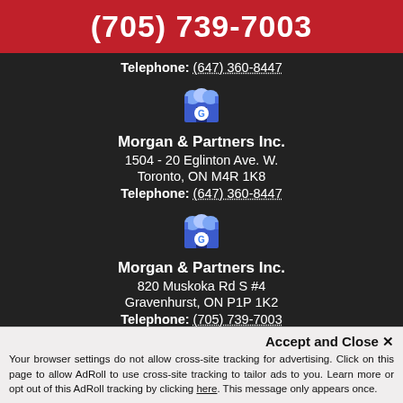(705) 739-7003
Telephone: (647) 360-8447
[Figure (logo): Google My Business store icon (blue awning with G)]
Morgan & Partners Inc.
1504 - 20 Eglinton Ave. W.
Toronto, ON M4R 1K8
Telephone: (647) 360-8447
[Figure (logo): Google My Business store icon (blue awning with G)]
Morgan & Partners Inc.
820 Muskoka Rd S #4
Gravenhurst, ON P1P 1K2
Telephone: (705) 739-7003
[Figure (logo): Google My Business store icon (partially visible)]
Accept and Close ✕
Your browser settings do not allow cross-site tracking for advertising. Click on this page to allow AdRoll to use cross-site tracking to tailor ads to you. Learn more or opt out of this AdRoll tracking by clicking here. This message only appears once.